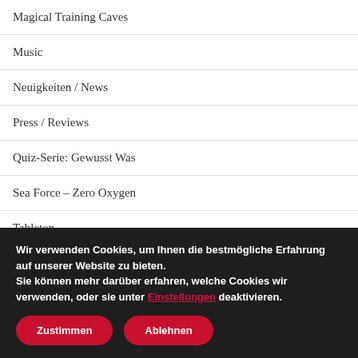Magical Training Caves
Music
Neuigkeiten / News
Press / Reviews
Quiz-Serie: Gewusst Was
Sea Force – Zero Oxygen
Tabletop
Wir verwenden Cookies, um Ihnen die bestmögliche Erfahrung auf unserer Website zu bieten. Sie können mehr darüber erfahren, welche Cookies wir verwenden, oder sie unter Einstellungen deaktivieren.
Zustimmen | Ablehnen